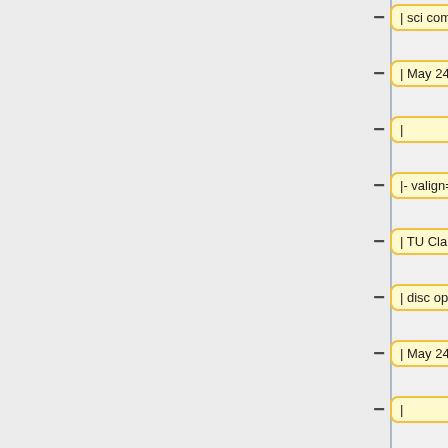[Figure (screenshot): Wiki diff editor showing removed (yellow) and added (blue) content rows. Left column shows minus signs with yellow boxes containing: '| sci comp (W3)', '| May 24, 2013', '|', '|- valign=top', '| TU Clausthal', '| disc opt (W2)', '| May 24, 2013', '|'. Right column shows plus signs with empty blue boxes. Below those rows are white boxes with '|- valign=top' labels and URL content referencing stellenwerk-koeln.de.]